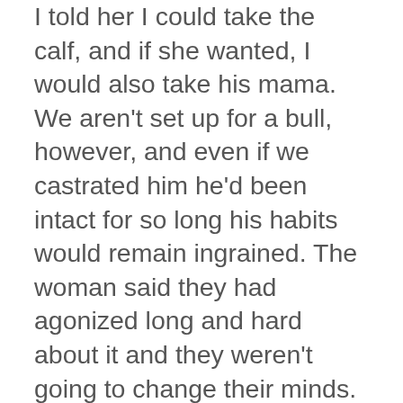I told her I could take the calf, and if she wanted, I would also take his mama. We aren't set up for a bull, however, and even if we castrated him he'd been intact for so long his habits would remain ingrained. The woman said they had agonized long and hard about it and they weren't going to change their minds. We agreed to make arrangements, and as I hung up the phone, I began to cry.
I've been sensitive to animals' conversations and emotions my entire life. The first thing I felt was that Mikey